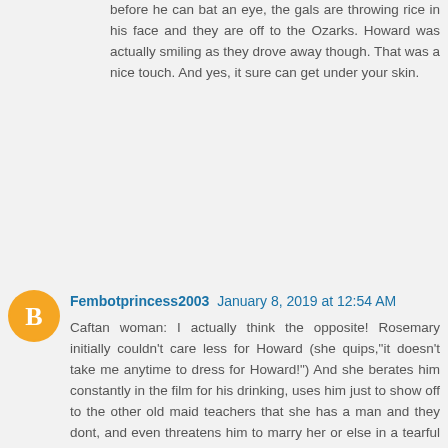before he can bat an eye, the gals are throwing rice in his face and they are off to the Ozarks. Howard was actually smiling as they drove away though. That was a nice touch. And yes, it sure can get under your skin.
Fembotprincess2003 January 8, 2019 at 12:54 AM
Caftan woman: I actually think the opposite! Rosemary initially couldn't care less for Howard (she quips,"it doesn't take me anytime to dress for Howard!") And she berates him constantly in the film for his drinking, uses him just to show off to the other old maid teachers that she has a man and they dont, and even threatens him to marry her or else in a tearful fit when he takes her home and has no consideration for how he may feel .I feel Rosemary was suffering a midlife crisis in the film and was trying to regain her youth as she was jealous of all the youth she was surrounded by and felt cheated out of many joys